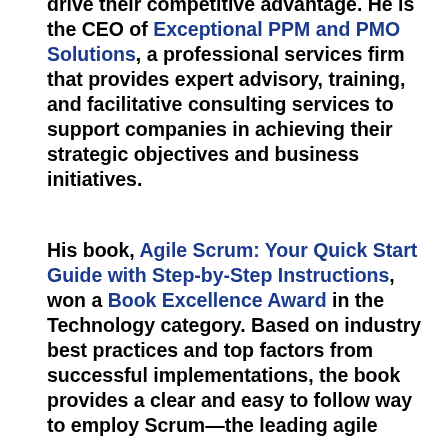drive their competitive advantage. He is the CEO of Exceptional PPM and PMO Solutions, a professional services firm that provides expert advisory, training, and facilitative consulting services to support companies in achieving their strategic objectives and business initiatives.
His book, Agile Scrum: Your Quick Start Guide with Step-by-Step Instructions, won a Book Excellence Award in the Technology category. Based on industry best practices and top factors from successful implementations, the book provides a clear and easy to follow way to employ Scrum—the leading agile